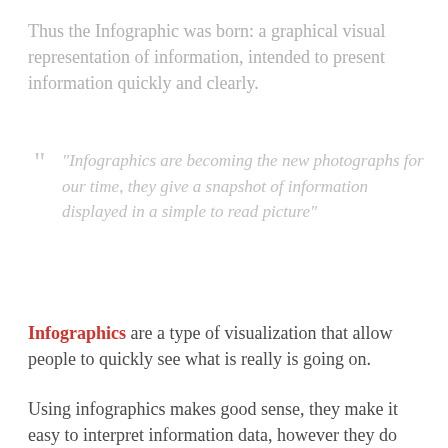Thus the Infographic was born: a graphical visual representation of information, intended to present information quickly and clearly.
“Infographics are becoming the new photographs for our time, they give a snapshot of information displayed in a simple to read picture”
Infographics are a type of visualization that allow people to quickly see what is really is going on.
Using infographics makes good sense, they make it easy to interpret information data, however they do